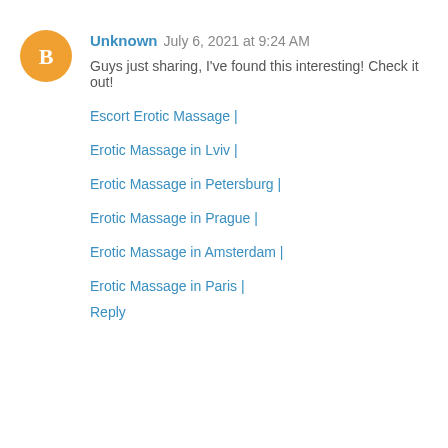Unknown July 6, 2021 at 9:24 AM
Guys just sharing, I've found this interesting! Check it out!
Escort Erotic Massage |
Erotic Massage in Lviv |
Erotic Massage in Petersburg |
Erotic Massage in Prague |
Erotic Massage in Amsterdam |
Erotic Massage in Paris |
Reply